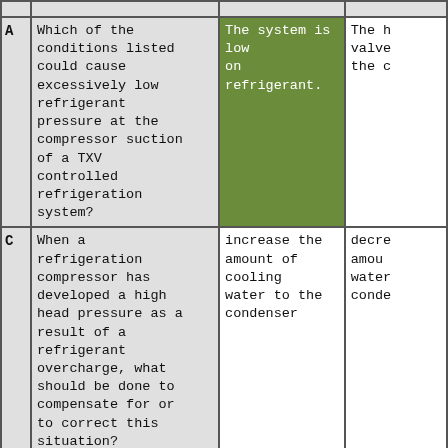|  | Question | Answer 1 | Answer 2 (partial) |
| --- | --- | --- | --- |
| A | Which of the conditions listed could cause excessively low refrigerant pressure at the compressor suction of a TXV controlled refrigeration system? | The system is low on refrigerant. | The h valve the c |
| C | When a refrigeration compressor has developed a high head pressure as a result of a refrigerant overcharge, what should be done to compensate for or to correct this situation? | increase the amount of cooling water to the condenser | decre amoun water conde |
|  | Low compressor head pressure... | insufficient | air i |